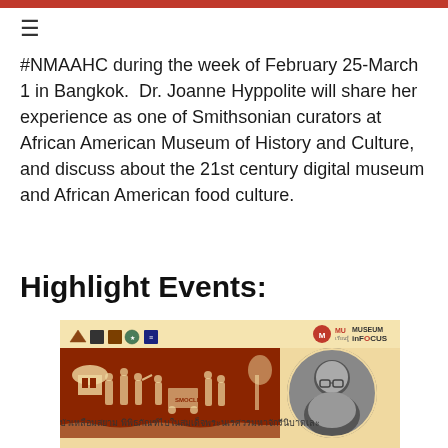≡
#NMAAHC during the week of February 25-March 1 in Bangkok. Dr. Joanne Hyppolite will share her experience as one of Smithsonian curators at African American Museum of History and Culture, and discuss about the 21st century digital museum and African American food culture.
Highlight Events:
[Figure (illustration): Event banner for Museum in Focus featuring a woodcut-style illustration of African American cultural scenes and a circular portrait photo of Dr. Joanne Hyppolite, with logos from partner organizations at the top and Thai text caption at the bottom.]